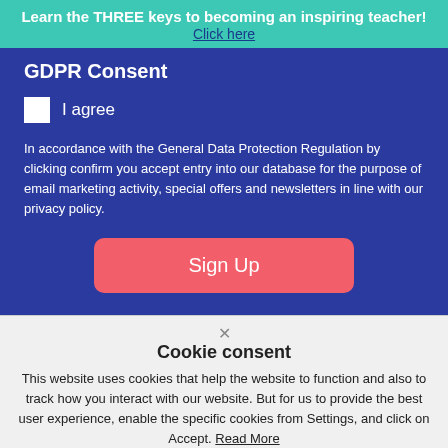Learn the THREE keys to becoming an inspiring teacher! Click here
GDPR Consent
I agree
In accordance with the General Data Protection Regulation by clicking confirm you accept entry into our database for the purpose of email marketing activity, special offers and newsletters in line with our privacy policy.
Sign Up
Cookie consent
This website uses cookies that help the website to function and also to track how you interact with our website. But for us to provide the best user experience, enable the specific cookies from Settings, and click on Accept. Read More
Manage Settings
Accept All